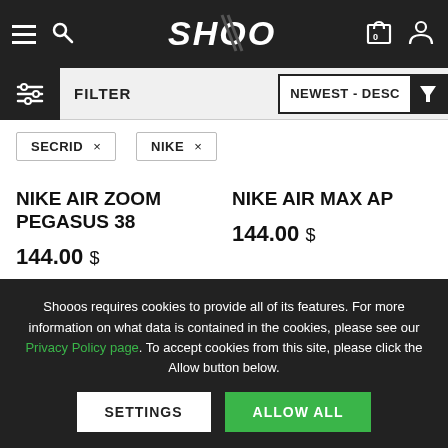SHOOOS
FILTER | NEWEST - DESC
SECRID ×
NIKE ×
NIKE AIR ZOOM PEGASUS 38
144.00 $
NIKE AIR MAX AP
144.00 $
Shooos requires cookies to provide all of its features. For more information on what data is contained in the cookies, please see our Privacy Policy page. To accept cookies from this site, please click the Allow button below.